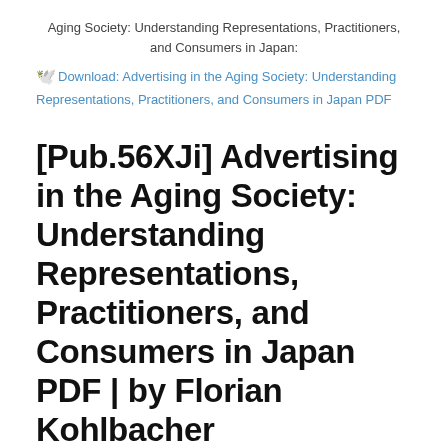Aging Society: Understanding Representations, Practitioners, and Consumers in Japan:
Download: Advertising in the Aging Society: Understanding Representations, Practitioners, and Consumers in Japan PDF
[Pub.56XJi] Advertising in the Aging Society: Understanding Representations, Practitioners, and Consumers in Japan PDF | by Florian Kohlbacher
Advertising in the Aging Society: Understanding Representations, Practitioners, and Consumers in Japan by by